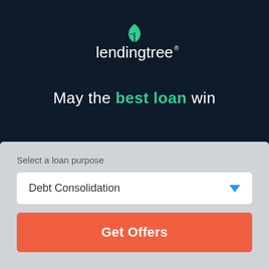[Figure (logo): LendingTree logo — stylized leaf in teal above the wordmark 'lendingtree' in white with registered trademark symbol]
May the best loan win
Select a loan purpose
Debt Consolidation
Get Offers